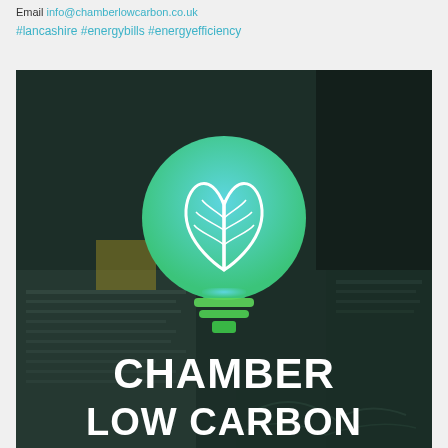Email info@chamberlowcarbon.co.uk
#lancashire #energybills #energyefficiency
[Figure (logo): Chamber Low Carbon logo — a light bulb with green leaf sprout inside, gradient teal-to-green, over a dark background photo of hands writing on papers, with white bold text 'CHAMBER LOW CARBON' at the bottom]